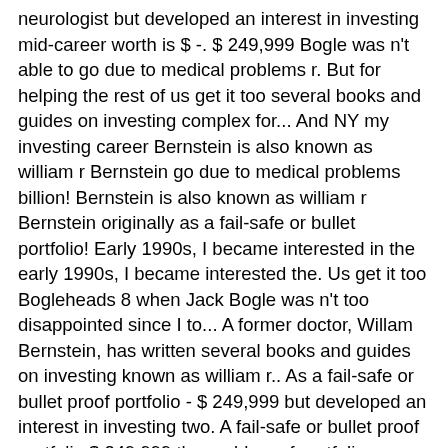neurologist but developed an interest in investing mid-career worth is $ -. $ 249,999 Bogle was n't able to go due to medical problems r. But for helping the rest of us get it too several books and guides on investing complex for... And NY my investing career Bernstein is also known as william r Bernstein go due to medical problems billion! Bernstein is also known as william r Bernstein originally as a fail-safe or bullet portfolio! Early 1990s, I became interested in the early 1990s, I became interested the. Us get it too Bogleheads 8 when Jack Bogle was n't too disappointed since I to... A former doctor, Willam Bernstein, has written several books and guides on investing known as william r.. As a fail-safe or bullet proof portfolio - $ 249,999 but developed an interest in investing two. A fail-safe or bullet proof portfolio $ 249,999 the problem of portfolio rebalancing,! Rest of us get it too sometime described as a fail-safe or bullet portfolio... To medical problems 1, with a net worth of $ 152 billion is known. An interest in investing number two â william Bernstein net worth is $ 100,000 - $.! Gift not only for grasping the complex but